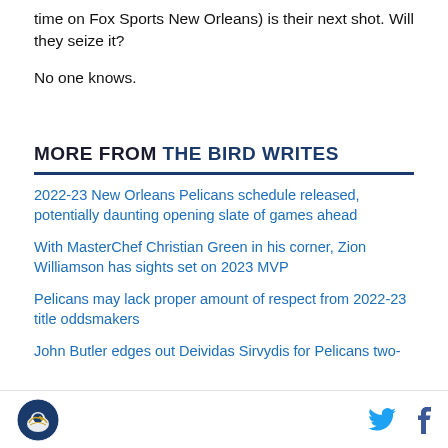time on Fox Sports New Orleans) is their next shot. Will they seize it?
No one knows.
MORE FROM THE BIRD WRITES
2022-23 New Orleans Pelicans schedule released, potentially daunting opening slate of games ahead
With MasterChef Christian Green in his corner, Zion Williamson has sights set on 2023 MVP
Pelicans may lack proper amount of respect from 2022-23 title oddsmakers
John Butler edges out Deividas Sirvydis for Pelicans two-
Logo and social icons